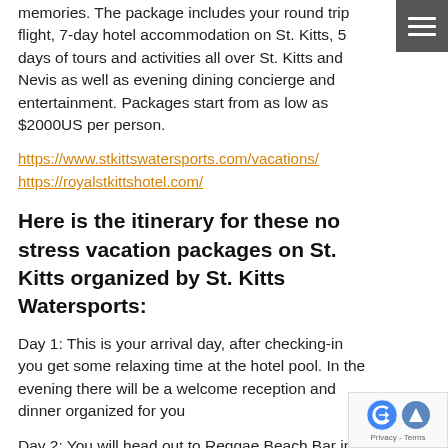memories. The package includes your round trip flight, 7-day hotel accommodation on St. Kitts, 5 days of tours and activities all over St. Kitts and Nevis as well as evening dining concierge and entertainment. Packages start from as low as $2000US per person.
https://www.stkittswatersports.com/vacations/
https://royalstkittshotel.com/
Here is the itinerary for these no stress vacation packages on St. Kitts organized by St. Kitts Watersports:
Day 1: This is your arrival day, after checking-in you get some relaxing time at the hotel pool. In the evening there will be a welcome reception and dinner organized for you
Day 2: You will head out to Reggae Beach Bar in the morning, where you will depart on a 2-hour "JetSki Snorkel Adventure". For the rest of the day you will be